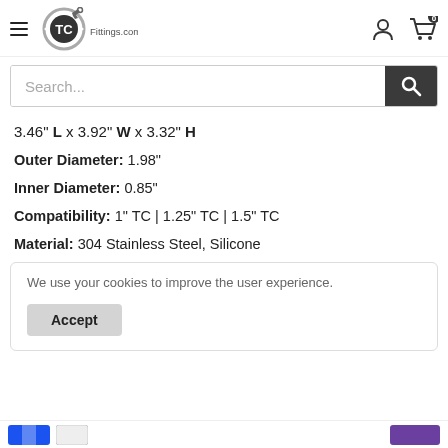TCFittings.com
Search...
3.46" L x 3.92" W x 3.32" H
Outer Diameter: 1.98"
Inner Diameter: 0.85"
Compatibility: 1" TC | 1.25" TC | 1.5" TC
Material: 304 Stainless Steel, Silicone
We use your cookies to improve the user experience.
Accept